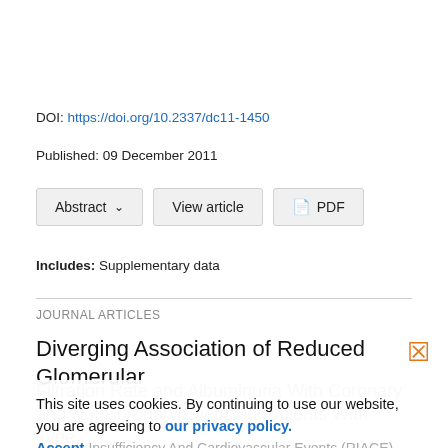DOI: https://doi.org/10.2337/dc11-1450
Published: 09 December 2011
Abstract  View article  PDF
Includes: Supplementary data
JOURNAL ARTICLES
Diverging Association of Reduced Glomerular Filtration Rate and Albuminuria With Coronary and NonCoronary Events in Patients With Type & Diabetes: Insufficiency And Cardiovascular Events (RIACE) Italian Multicenter Study